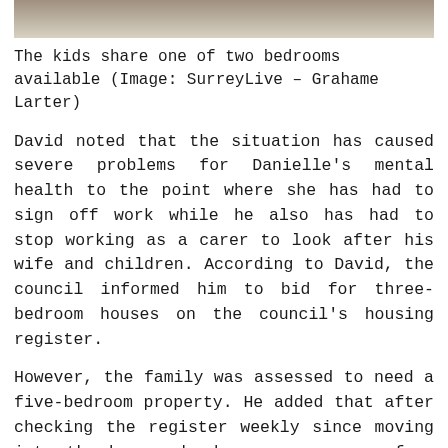[Figure (photo): Top portion of a photo showing people, cropped at top of page]
The kids share one of two bedrooms available (Image: SurreyLive – Grahame Larter)
David noted that the situation has caused severe problems for Danielle's mental health to the point where she has had to sign off work while he also has had to stop working as a carer to look after his wife and children. According to David, the council informed him to bid for three-bedroom houses on the council's housing register.
However, the family was assessed to need a five-bedroom property. He added that after checking the register weekly since moving into the house, he has never seen a four or five-bedroom house listed.